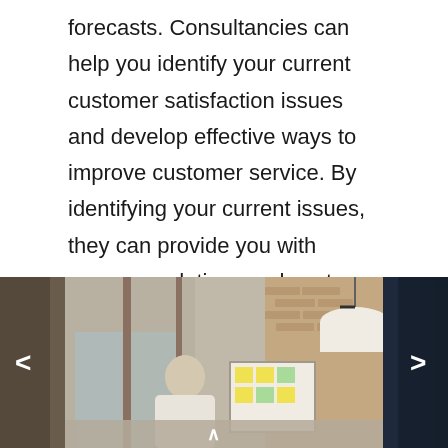forecasts. Consultancies can help you identify your current customer satisfaction issues and develop effective ways to improve customer service. By identifying your current issues, they can provide you with recommendations on how to improve your business and your sales forecast. This will improve both your revenue and your sales forecasts.
[Figure (photo): Office interior photo showing a person standing near a whiteboard with sticky notes, exposed brick wall, wooden ceiling with pendant lights, and a lamp shade. Left and right navigation arrows visible, suggesting a carousel/slideshow interface.]